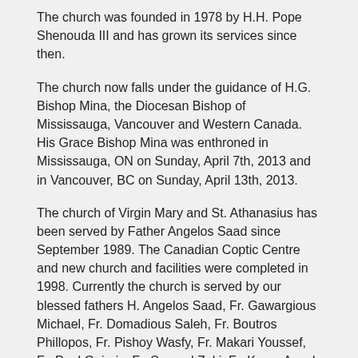The church was founded in 1978 by H.H. Pope Shenouda III and has grown its services since then.
The church now falls under the guidance of H.G. Bishop Mina, the Diocesan Bishop of Mississauga, Vancouver and Western Canada. His Grace Bishop Mina was enthroned in Mississauga, ON on Sunday, April 7th, 2013 and in Vancouver, BC on Sunday, April 13th, 2013.
The church of Virgin Mary and St. Athanasius has been served by Father Angelos Saad since September 1989. The Canadian Coptic Centre and new church and facilities were completed in 1998. Currently the church is served by our blessed fathers H. Angelos Saad, Fr. Gawargious Michael, Fr. Domadious Saleh, Fr. Boutros Phillopos, Fr. Pishoy Wasfy, Fr. Makari Youssef, Fr. Paul Guirgis, Fr. Samuel Zaki, Fr. Karas Awad and Fr. Raphael Ghaly.
For more information about the church, please visit the official website at www.cccnet.ca